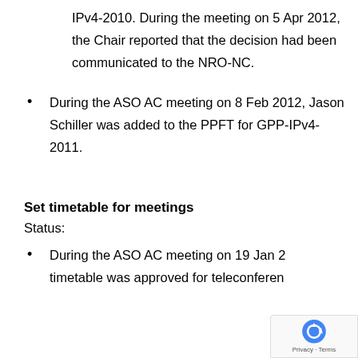IPv4-2010. During the meeting on 5 Apr 2012, the Chair reported that the decision had been communicated to the NRO-NC.
During the ASO AC meeting on 8 Feb 2012, Jason Schiller was added to the PPFT for GPP-IPv4-2011.
Set timetable for meetings
Status:
During the ASO AC meeting on 19 Jan 20[...] timetable was approved for teleconference[...]